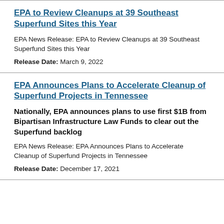EPA to Review Cleanups at 39 Southeast Superfund Sites this Year
EPA News Release: EPA to Review Cleanups at 39 Southeast Superfund Sites this Year
Release Date: March 9, 2022
EPA Announces Plans to Accelerate Cleanup of Superfund Projects in Tennessee
Nationally, EPA announces plans to use first $1B from Bipartisan Infrastructure Law Funds to clear out the Superfund backlog
EPA News Release: EPA Announces Plans to Accelerate Cleanup of Superfund Projects in Tennessee
Release Date: December 17, 2021